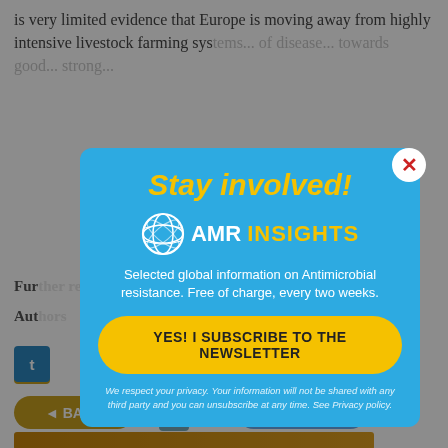is very limited evidence that Europe is moving away from highly intensive livestock farming systems... of disease... towards good... strong...
Further
Authors
[Figure (screenshot): Modal popup overlay on webpage. Blue modal with 'Stay involved!' heading in yellow italic bold text, AMR Insights logo (globe icon + AMR INSIGHTS text), description text 'Selected global information on Antimicrobial resistance. Free of charge, every two weeks.', yellow subscribe button 'YES! I SUBSCRIBE TO THE NEWSLETTER', and privacy disclaimer text. White close button with red X in top right corner of modal.]